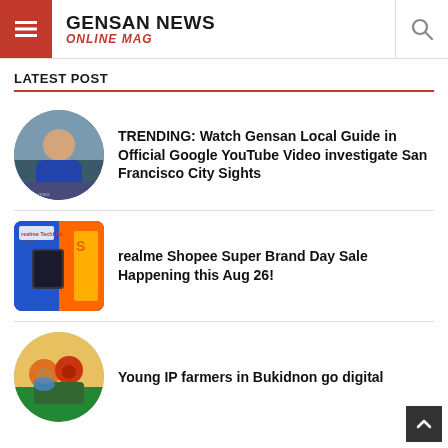GENSAN NEWS ONLINE MAG
LATEST POST
[Figure (photo): Circular thumbnail of a person standing outdoors]
TRENDING: Watch Gensan Local Guide in Official Google YouTube Video investigate San Francisco City Sights
[Figure (photo): Rectangular thumbnail showing realme TechLife launch products]
realme Shopee Super Brand Day Sale Happening this Aug 26!
[Figure (photo): Circular thumbnail of young IP farmers in Bukidnon]
Young IP farmers in Bukidnon go digital